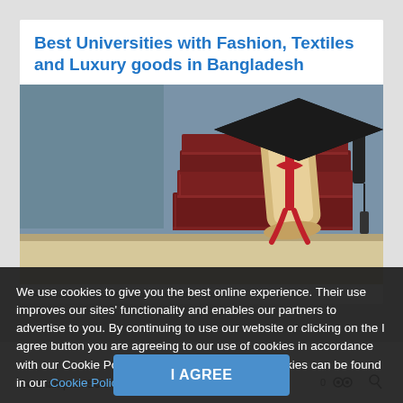Best Universities with Fashion, Textiles and Luxury goods in Bangladesh
[Figure (photo): Graduation cap and diploma scroll with red ribbon resting on a stack of dark red books, against a blueish-grey background]
American InterContinental University - London
We use cookies to give you the best online experience. Their use improves our sites' functionality and enables our partners to advertise to you. By continuing to use our website or clicking on the I agree button you are agreeing to our use of cookies in accordance with our Cookie Policy. Details on how we use cookies can be found in our Cookie Policy
Southampton Sole
I AGREE